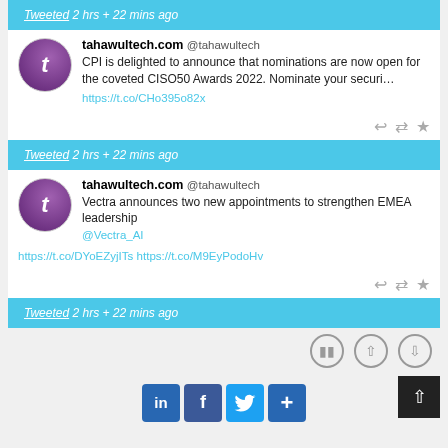Tweeted  2 hrs + 22 mins ago
tahawultech.com @tahawultech
CPI is delighted to announce that nominations are now open for the coveted CISO50 Awards 2022. Nominate your securi…
https://t.co/CHo395o82x
Tweeted  2 hrs + 22 mins ago
tahawultech.com @tahawultech
Vectra announces two new appointments to strengthen EMEA leadership
@Vectra_AI
https://t.co/DYoEZyjITs https://t.co/M9EyPodoHv
Tweeted  2 hrs + 22 mins ago